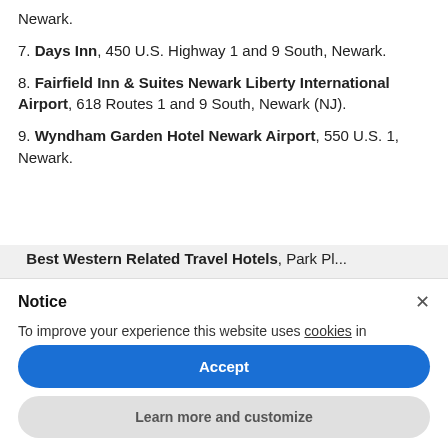Newark.
7. Days Inn, 450 U.S. Highway 1 and 9 South, Newark.
8. Fairfield Inn & Suites Newark Liberty International Airport, 618 Routes 1 and 9 South, Newark (NJ).
9. Wyndham Garden Hotel Newark Airport, 550 U.S. 1, Newark.
Best Western Related Travel Hotels, Park Pl...
Notice
To improve your experience this website uses cookies in according with a privacy policy.
Accept
Learn more and customize